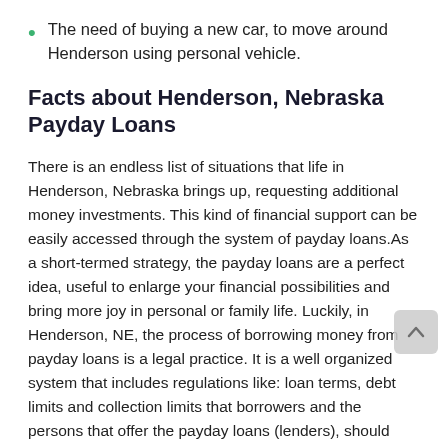The need of buying a new car, to move around Henderson using personal vehicle.
Facts about Henderson, Nebraska Payday Loans
There is an endless list of situations that life in Henderson, Nebraska brings up, requesting additional money investments. This kind of financial support can be easily accessed through the system of payday loans.As a short-termed strategy, the payday loans are a perfect idea, useful to enlarge your financial possibilities and bring more joy in personal or family life. Luckily, in Henderson, NE, the process of borrowing money from payday loans is a legal practice. It is a well organized system that includes regulations like: loan terms, debt limits and collection limits that borrowers and the persons that offer the payday loans (lenders), should know: